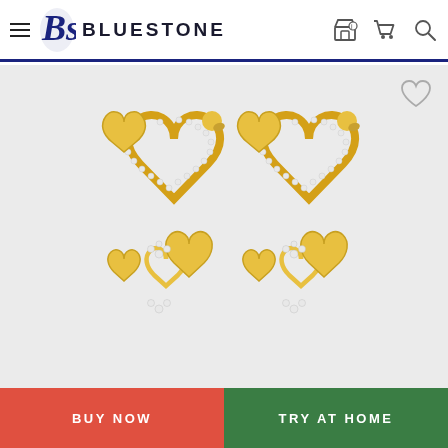BLUESTONE
[Figure (photo): Two gold and diamond heart-shaped dangling earrings with multiple interlocking hearts and diamond-studded accents on a light grey background. The earrings feature three gold open heart charms dangling from a larger diamond-paved heart frame.]
BUY NOW
TRY AT HOME